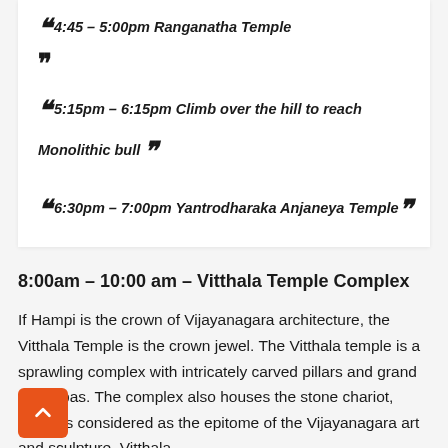" 4:45 - 5:00pm Ranganatha Temple "
" 5:15pm - 6:15pm Climb over the hill to reach Monolithic bull "
" 6:30pm - 7:00pm Yantrodharaka Anjaneya Temple"
8:00am - 10:00 am - Vitthala Temple Complex
If Hampi is the crown of Vijayanagara architecture, the Vitthala Temple is the crown jewel. The Vitthala temple is a sprawling complex with intricately carved pillars and grand Mantapas. The complex also houses the stone chariot, which is considered as the epitome of the Vijayanagara art and sculpture. Vitthala